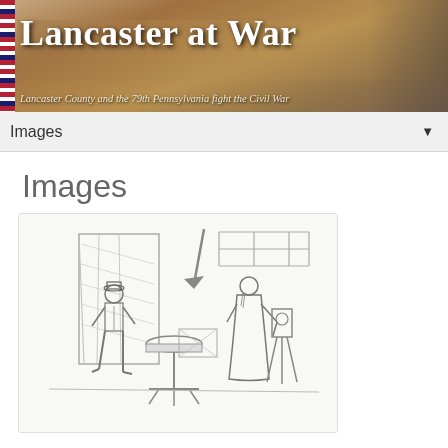[Figure (illustration): Lancaster at War website banner showing sepia-toned Civil War era city streetscape and soldier statue on right, with American flag strip on left edge. Title reads 'Lancaster at War' in large serif font. Subtitle: 'Lancaster County and the 79th Pennsylvania fight the Civil War']
Images ▼
Images
[Figure (illustration): Black and white pencil sketch showing two figures in what appears to be a photography studio. A man in a hat and vest stands on the left near photography equipment. A robed or long-coated figure stands on the right also near camera equipment on a tripod. An arrow pointing downward is sketched in the upper middle area. Curtains or backdrops are visible in the background.]